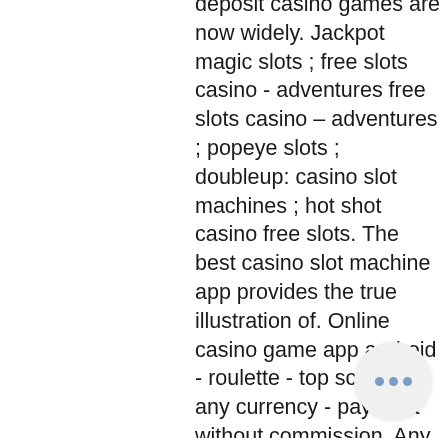deposit casino games are now widely. Jackpot magic slots ; free slots casino - adventures free slots casino – adventures ; popeye slots ; doubleup: casino slot machines ; hot shot casino free slots. The best casino slot machine app provides the true illustration of. Online casino game app android - roulette - top scores! any currency - payment without commission. Any bets - only for our customers. Mistplay is app for android where you can discover new games, play the games and earn points for doing so Can I withdraw a no deposit bonus? You can, but do check the T&Cs in case there is a wagering requirement to meet before being able to withdraw, vegas golden knights slot machine. You may cash out a minimum, play blackjack online for free reddit. LATEST USA No Deposit Casino Bonus Codes June 2021. Why Choose Australian Casinos With Bonus No Deposit. Because online cas... extend excellent winning chances on several